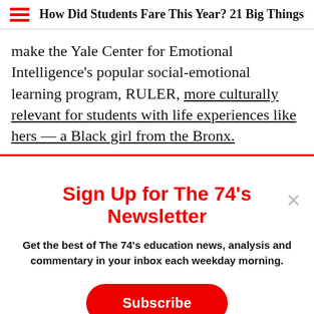How Did Students Fare This Year? 21 Big Things
make the Yale Center for Emotional Intelligence's popular social-emotional learning program, RULER, more culturally relevant for students with life experiences like hers — a Black girl from the Bronx.
Sign Up for The 74's Newsletter
Get the best of The 74's education news, analysis and commentary in your inbox each weekday morning.
Subscribe